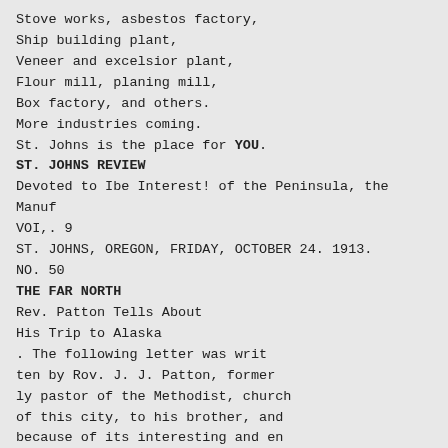Stove works, asbestos factory,
Ship building plant,
Veneer and excelsior plant,
Flour mill, planing mill,
Box factory, and others.
More industries coming.
St. Johns is the place for YOU.
ST. JOHNS REVIEW
Devoted to Ibe Interest! of the Peninsula, the Manuf
VOI,. 9
ST. JOHNS, OREGON, FRIDAY, OCTOBER 24. 1913.
NO. 50
THE FAR NORTH
Rev. Patton Tells About His Trip to Alaska
. The following letter was written by Rov. J. J. Patton, formerly pastor of the Methodist, church of this city, to his brother, and because of its interesting and entertaining nature, we have secured it for publication:
On board the Casca, Sept. 23.
1913 Mr. and Mrs. D. W. Pat